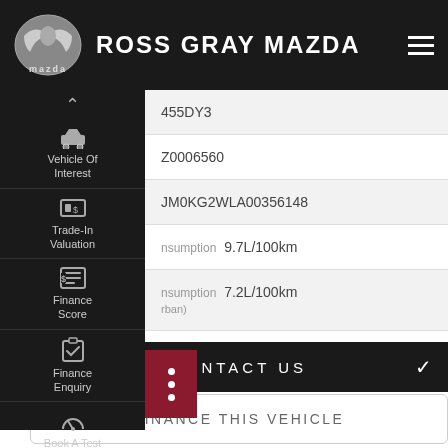[Figure (logo): Mazda logo with ROSS GRAY MAZDA dealer name in white on dark background header]
Vehicle Of Interest
Trade-In Valuation
Finance Score
Finance Enquiry
Book A Test Drive
| Field | Value |
| --- | --- |
|  | 455DY3 |
|  | Z0006560 |
|  | JM0KG2WLA00356148 |
| consumption | 9.7L/100km |
| consumption (urban) | 7.2L/100km |
| tion | 8.1L/100km |
CONTACT US
FINANCE THIS VEHICLE